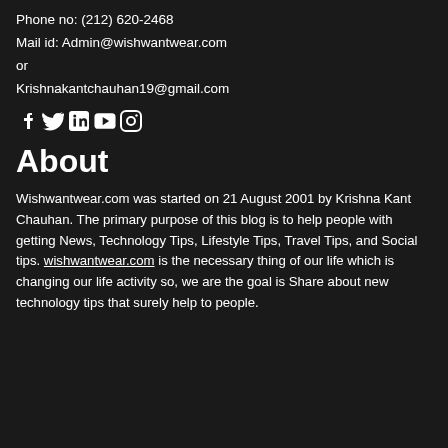Phone no: (212) 620-2468
Mail id: Admin@wishwantwear.com
or
Krishnakantchauhan19@gmail.com
[Figure (other): Social media icons: Facebook, Twitter, LinkedIn, YouTube, Instagram]
About
Wishwantwear.com was started on 21 August 2001 by Krishna Kant Chauhan. The primary purpose of this blog is to help people with getting News, Technology Tips, Lifestyle Tips, Travel Tips, and Social tips. wishwantwear.com is the necessary thing of our life which is changing our life activity so, we are the goal is Share about new technology tips that surely help to people.